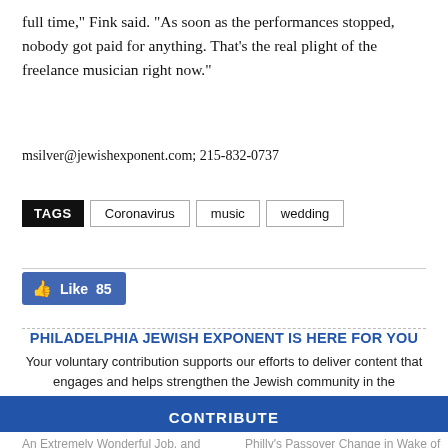full time," Fink said. "As soon as the performances stopped, nobody got paid for anything. That's the real plight of the freelance musician right now."
msilver@jewishexponent.com; 215-832-0737
TAGS  Coronavirus  music  wedding
[Figure (other): Facebook Like button showing 85 likes]
PHILADELPHIA JEWISH EXPONENT IS HERE FOR YOU
Your voluntary contribution supports our efforts to deliver content that engages and helps strengthen the Jewish community in the Philadelphia area.
CONTRIBUTE
An Extremely Wonderful Job, and How It Impacts My Work Also As a Therapist
Philly's Passover Change in Wake of CO...